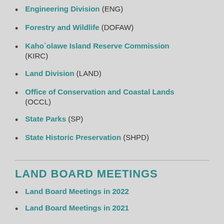Engineering Division (ENG)
Forestry and Wildlife (DOFAW)
Kaho`olawe Island Reserve Commission (KIRC)
Land Division (LAND)
Office of Conservation and Coastal Lands (OCCL)
State Parks (SP)
State Historic Preservation (SHPD)
LAND BOARD MEETINGS
Land Board Meetings in 2022
Land Board Meetings in 2021